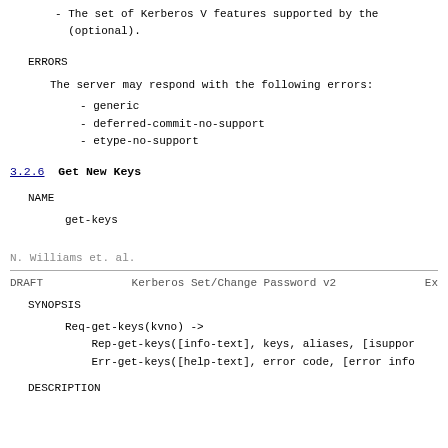- The set of Kerberos V features supported by the (optional).
ERRORS
The server may respond with the following errors:
- generic
- deferred-commit-no-support
- etype-no-support
3.2.6  Get New Keys
NAME
get-keys
N. Williams et. al.
DRAFT          Kerberos Set/Change Password v2          Ex
SYNOPSIS
Req-get-keys(kvno) ->
    Rep-get-keys([info-text], keys, aliases, [isuppor
    Err-get-keys([help-text], error code, [error info
DESCRIPTION